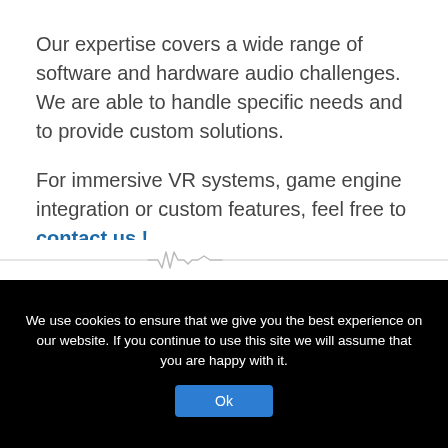Our expertise covers a wide range of software and hardware audio challenges. We are able to handle specific needs and to provide custom solutions.
For immersive VR systems, game engine integration or custom features, feel free to contact us !
[Figure (illustration): Horizontal decorative divider line with a small waveform/audio signal graphic in the center]
We use cookies to ensure that we give you the best experience on our website. If you continue to use this site we will assume that you are happy with it.